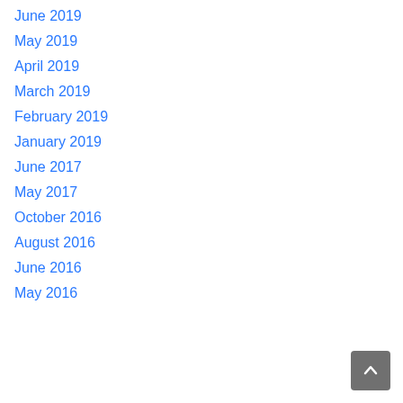June 2019
May 2019
April 2019
March 2019
February 2019
January 2019
June 2017
May 2017
October 2016
August 2016
June 2016
May 2016